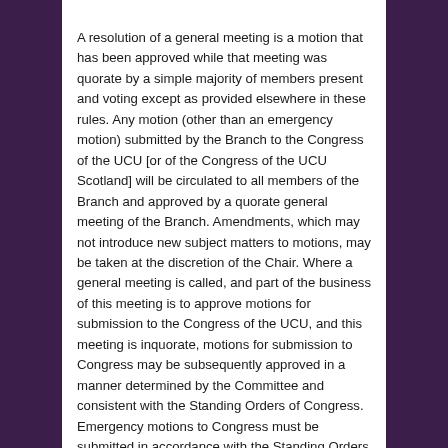A resolution of a general meeting is a motion that has been approved while that meeting was quorate by a simple majority of members present and voting except as provided elsewhere in these rules. Any motion (other than an emergency motion) submitted by the Branch to the Congress of the UCU [or of the Congress of the UCU Scotland] will be circulated to all members of the Branch and approved by a quorate general meeting of the Branch. Amendments, which may not introduce new subject matters to motions, may be taken at the discretion of the Chair. Where a general meeting is called, and part of the business of this meeting is to approve motions for submission to the Congress of the UCU, and this meeting is inquorate, motions for submission to Congress may be subsequently approved in a manner determined by the Committee and consistent with the Standing Orders of Congress. Emergency motions to Congress must be submitted in accordance with the Standing Orders of Congress.